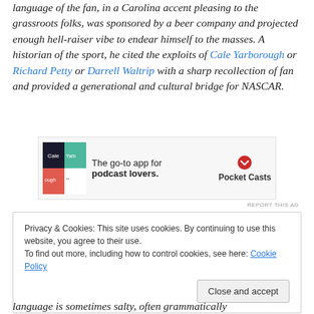language of the fan, in a Carolina accent pleasing to the grassroots folks, was sponsored by a beer company and projected enough hell-raiser vibe to endear himself to the masses. A historian of the sport, he cited the exploits of Cale Yarborough or Richard Petty or Darrell Waltrip with a sharp recollection of fan and provided a generational and cultural bridge for NASCAR.
[Figure (other): Advertisement for Pocket Casts app - 'The go-to app for podcast lovers.' with colorful logo and Pocket Casts branding]
REPORT THIS AD
Privacy & Cookies: This site uses cookies. By continuing to use this website, you agree to their use. To find out more, including how to control cookies, see here: Cookie Policy. Close and accept.
language is sometimes salty, often grammatically